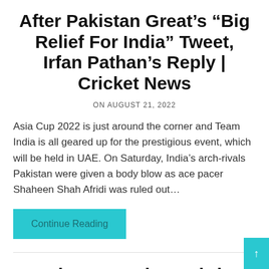After Pakistan Great’s “Big Relief For India” Tweet, Irfan Pathan’s Reply | Cricket News
ON AUGUST 21, 2022
Asia Cup 2022 is just around the corner and Team India is all geared up for the prestigious event, which will be held in UAE. On Saturday, India’s arch-rivals Pakistan were given a body blow as ace pacer Shaheen Shah Afridi was ruled out…
Continue Reading
“She Is Worthy”: Chris Hemsworth Tweet For Mirabai Chanu Is A